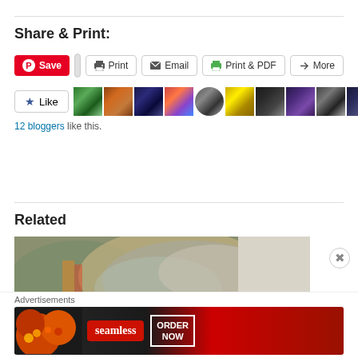Share & Print:
[Figure (screenshot): Share buttons row: Pinterest Save, blank, Print, Email, Print & PDF, More]
[Figure (screenshot): Like button with star icon and 10 blogger avatar thumbnails]
12 bloggers like this.
Related
[Figure (photo): Photo of a colorful crocheted or knitted blanket draped over a chair]
Advertisements
[Figure (screenshot): Seamless food delivery advertisement banner with pizza image, seamless logo, and ORDER NOW call to action]